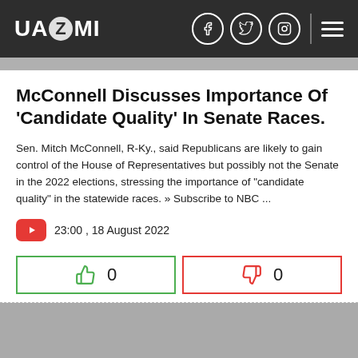UAZMI
McConnell Discusses Importance Of 'Candidate Quality' In Senate Races.
Sen. Mitch McConnell, R-Ky., said Republicans are likely to gain control of the House of Representatives but possibly not the Senate in the 2022 elections, stressing the importance of "candidate quality" in the statewide races. » Subscribe to NBC ...
23:00 , 18 August 2022